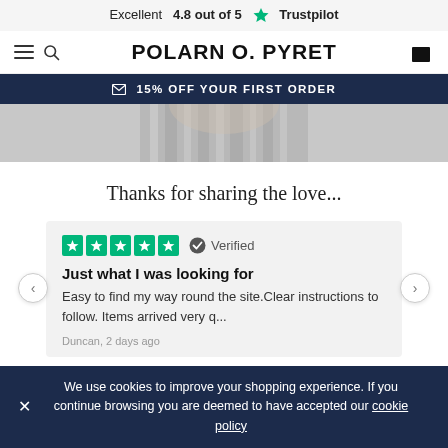Excellent 4.8 out of 5 ★ Trustpilot
[Figure (logo): Polarn O. Pyret logo with hamburger/search icons and bag icon]
✉ 15% OFF YOUR FIRST ORDER
[Figure (photo): Hero image showing a child wearing a striped garment, grayscale]
Thanks for sharing the love...
★★★★★ ✓ Verified
Just what I was looking for
Easy to find my way round the site.Clear instructions to follow. Items arrived very q...
Duncan, 2 days ago
We use cookies to improve your shopping experience. If you continue browsing you are deemed to have accepted our cookie policy